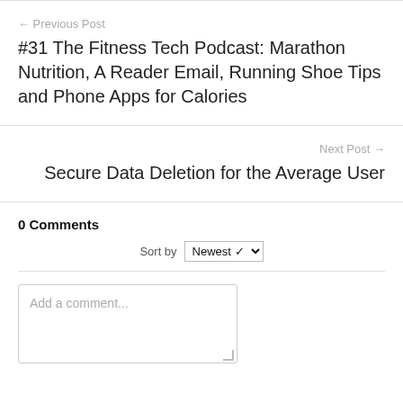← Previous Post
#31 The Fitness Tech Podcast: Marathon Nutrition, A Reader Email, Running Shoe Tips and Phone Apps for Calories
Next Post →
Secure Data Deletion for the Average User
0 Comments
Sort by Newest
Add a comment...